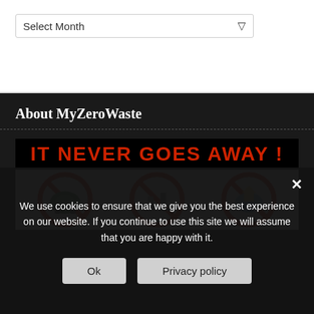Select Month
About MyZeroWaste
[Figure (illustration): Anti-pollution poster with text 'IT NEVER GOES AWAY!' in red on black background, with three red prohibition/no symbols over images depicting pollution sources]
We use cookies to ensure that we give you the best experience on our website. If you continue to use this site we will assume that you are happy with it.
Ok
Privacy policy